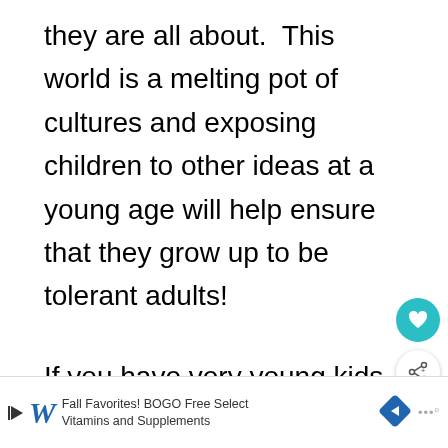they are all about.  This world is a melting pot of cultures and exposing children to other ideas at a young age will help ensure that they grow up to be tolerant adults!
If you have very young kids, you may want to check out these games to prevent bullying.
[Figure (screenshot): WHAT'S NEXT arrow label with thumbnail image and text 'Teach Your Kids to...']
[Figure (screenshot): Advertisement bar: Walgreens Fall Favorites! BOGO Free Select Vitamins and Supplements]
R